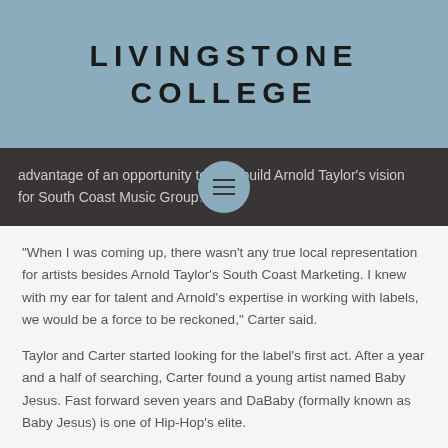LIVINGSTONE COLLEGE
advantage of an opportunity to help build Arnold Taylor's vision for South Coast Music Group…4.
“When I was coming up, there wasn’t any true local representation for artists besides Arnold Taylor’s South Coast Marketing. I knew with my ear for talent and Arnold’s expertise in working with labels, we would be a force to be reckoned,” Carter said.
Taylor and Carter started looking for the label’s first act. After a year and a half of searching, Carter found a young artist named Baby Jesus. Fast forward seven years and DaBaby (formally known as Baby Jesus) is one of Hip-Hop’s elite.